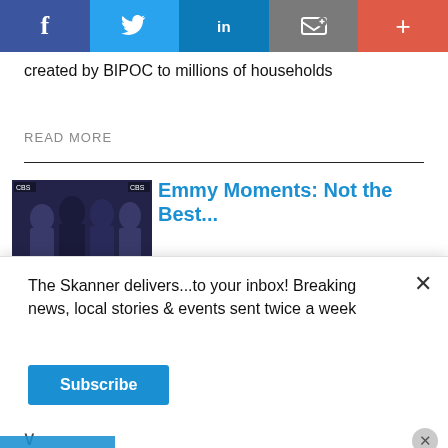[Figure (screenshot): Social media sharing bar with Facebook, Twitter, LinkedIn, email/bookmark, and plus buttons]
created by BIPOC to millions of households
READ MORE
[Figure (photo): Photo of people at CBS Emmy event, with CBS logos visible]
Emmy Moments: Not the Best...
The Skanner delivers...to your inbox! Breaking news, local stories & events sent twice a week
Subscribe
[Figure (photo): Sedona Apartments advertisement with building photo, address 14402 Pavilion Point, Houston, TX 77083, phone 281-568-4596, website www.apartments.com, Spanish text ¡RENTA TU APARTAMENTO Y MÚDATE HOY! ¡VEN Y VISITANOS, 1 Y 2 RECAMARAS]